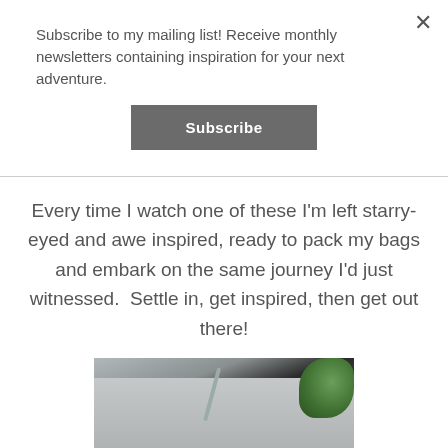Subscribe to my mailing list! Receive monthly newsletters containing inspiration for your next adventure.
[Figure (other): A grey Subscribe button]
Every time I watch one of these I'm left starry-eyed and awe inspired, ready to pack my bags and embark on the same journey I'd just witnessed.  Settle in, get inspired, then get out there!
[Figure (photo): A photo showing a silver/grey bag or pouch with a metal straw and a green succulent plant in the background]